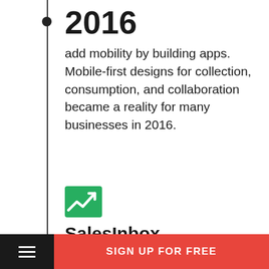2016
add mobility by building apps. Mobile-first designs for collection, consumption, and collaboration became a reality for many businesses in 2016.
[Figure (logo): SalesInbox green upward trending chart icon]
SalesInbox
Zoho SalesInbox was released later that spring as an email client exclusively for salespeople. SalesInbox organizes and prioritizes emails
SIGN UP FOR FREE